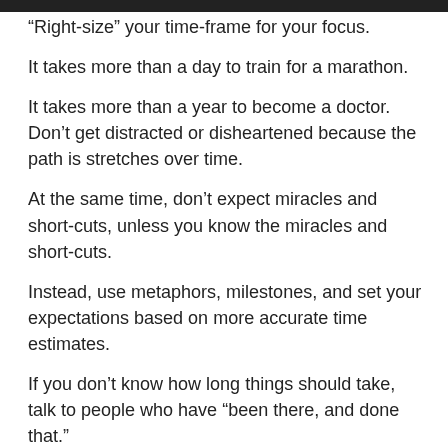“Right-size” your time-frame for your focus.
It takes more than a day to train for a marathon.
It takes more than a year to become a doctor. Don’t get distracted or disheartened because the path is stretches over time.
At the same time, don’t expect miracles and short-cuts, unless you know the miracles and short-cuts.
Instead, use metaphors, milestones, and set your expectations based on more accurate time estimates.
If you don’t know how long things should take, talk to people who have “been there, and done that.”